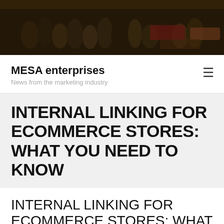[Figure (photo): Dark overhead photo of a crowded marketplace or street scene with people and vehicles]
MESA enterprises
News from the marketing industry
INTERNAL LINKING FOR ECOMMERCE STORES: WHAT YOU NEED TO KNOW
INTERNAL LINKING FOR ECOMMERCE STORES: WHAT YOU NEED TO KNOW